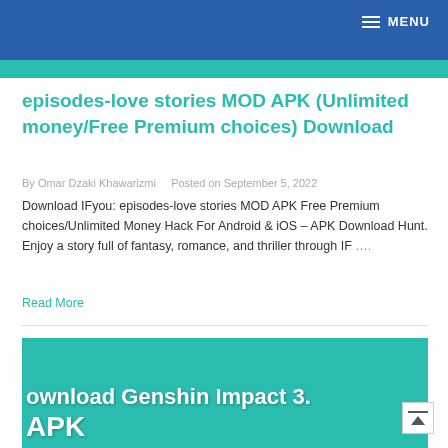MENU
episodes-love stories MOD APK (Unlimited money/Free Premium choices) Download
By Omar Dzaki Khawarizmi   Posted on September 5, 2022
Download IFyou: episodes-love stories MOD APK Free Premium choices/Unlimited Money Hack For Android & iOS – APK Download Hunt. Enjoy a story full of fantasy, romance, and thriller through IF ....
Read More
[Figure (illustration): Teal/turquoise banner image showing partial text 'ownload Genshin Impact 3.' and 'APK' at the bottom, white bold text on teal background]